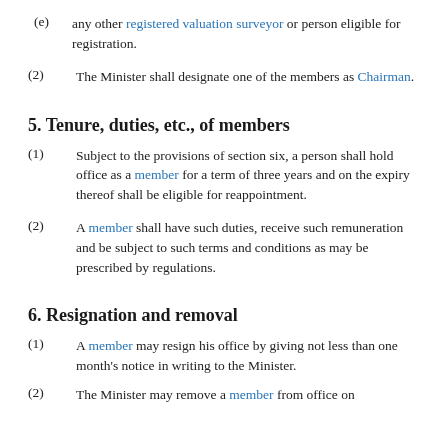(e) any other registered valuation surveyor or person eligible for registration.
(2) The Minister shall designate one of the members as Chairman.
5. Tenure, duties, etc., of members
(1) Subject to the provisions of section six, a person shall hold office as a member for a term of three years and on the expiry thereof shall be eligible for reappointment.
(2) A member shall have such duties, receive such remuneration and be subject to such terms and conditions as may be prescribed by regulations.
6. Resignation and removal
(1) A member may resign his office by giving not less than one month's notice in writing to the Minister.
(2) The Minister may remove a member from office on